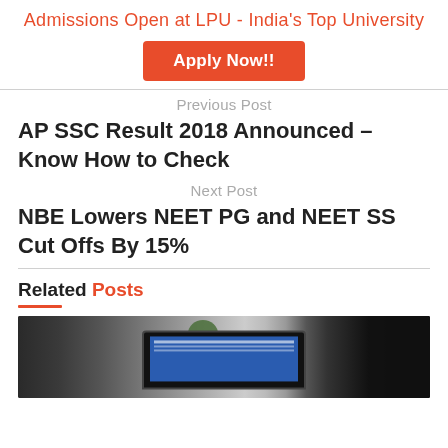Admissions Open at LPU - India's Top University
Apply Now!!
Previous Post
AP SSC Result 2018 Announced – Know How to Check
Next Post
NBE Lowers NEET PG and NEET SS Cut Offs By 15%
Related Posts
[Figure (photo): Photo of a laptop computer on a desk with a blurred background including a plant and a dark object on the right]